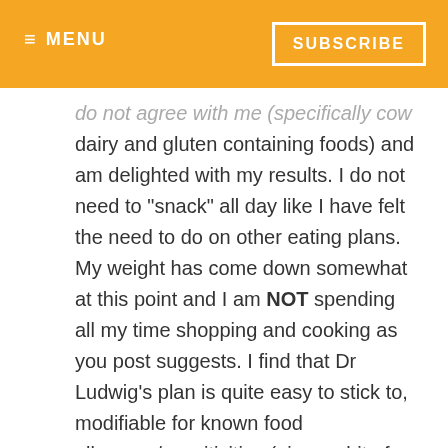≡ MENU   SUBSCRIBE
do not agree with me (specifically cow dairy and gluten containing foods) and am delighted with my results. I do not need to "snack" all day like I have felt the need to do on other eating plans. My weight has come down somewhat at this point and I am NOT spending all my time shopping and cooking as you post suggests. I find that Dr Ludwig's plan is quite easy to stick to, modifiable for known food allergens/sensitivities (given a bit of research) and completely workable. I suggest that you try it before you dismiss it.